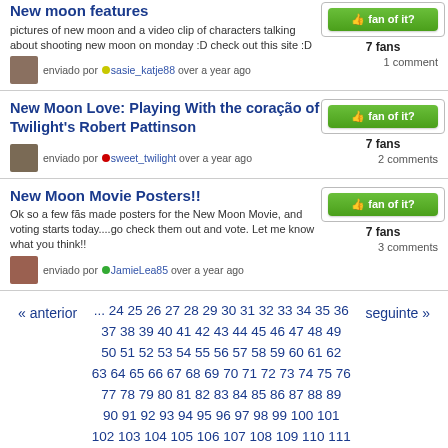pictures of new moon and a video clip of characters talking about shooting new moon on monday :D check out this site :D
enviado por sasie_katje88 over a year ago
1 comment
New Moon Love: Playing With the coração of Twilight's Robert Pattinson
enviado por sweet_twilight over a year ago
2 comments
New Moon Movie Posters!!
Ok so a few fãs made posters for the New Moon Movie, and voting starts today....go check them out and vote. Let me know what you think!!
enviado por JamieLea85 over a year ago
3 comments
« anterior ... 24 25 26 27 28 29 30 31 32 33 34 35 36 37 38 39 40 41 42 43 44 45 46 47 48 49 50 51 52 53 54 55 56 57 58 59 60 61 62 63 64 65 66 67 68 69 70 71 72 73 74 75 76 77 78 79 80 81 82 83 84 85 86 87 88 89 90 91 92 93 94 95 96 97 98 99 100 101 102 103 104 105 106 107 108 109 110 111 seguinte »